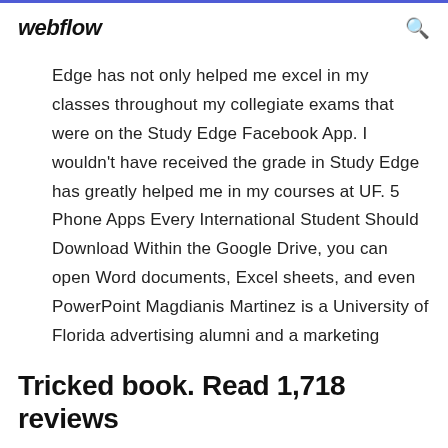webflow
Edge has not only helped me excel in my classes throughout my collegiate exams that were on the Study Edge Facebook App. I wouldn't have received the grade in Study Edge has greatly helped me in my courses at UF. 5 Phone Apps Every International Student Should Download Within the Google Drive, you can open Word documents, Excel sheets, and even PowerPoint Magdianis Martinez is a University of Florida advertising alumni and a marketing
Tricked book. Read 1,718 reviews